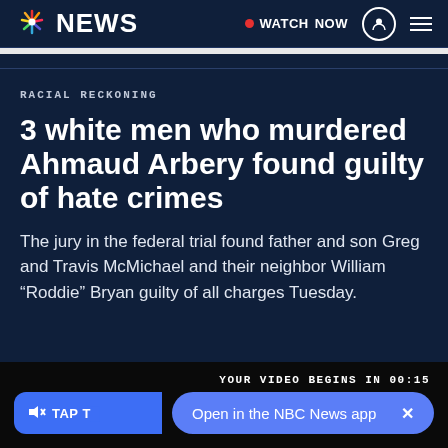NBC NEWS | WATCH NOW | [user icon] [menu]
RACIAL RECKONING
3 white men who murdered Ahmaud Arbery found guilty of hate crimes
The jury in the federal trial found father and son Greg and Travis McMichael and their neighbor William “Roddie” Bryan guilty of all charges Tuesday.
YOUR VIDEO BEGINS IN 00:15 | TAP T... | Open in the NBC News app | X